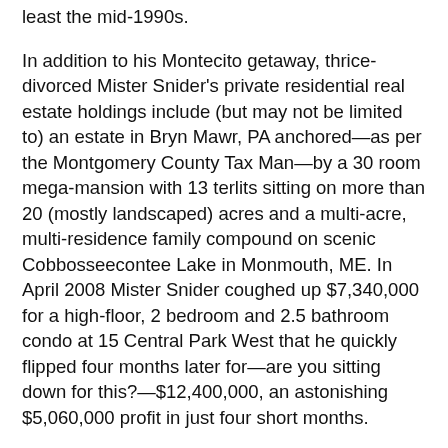least the mid-1990s.
In addition to his Montecito getaway, thrice-divorced Mister Snider's private residential real estate holdings include (but may not be limited to) an estate in Bryn Mawr, PA anchored—as per the Montgomery County Tax Man—by a 30 room mega-mansion with 13 terlits sitting on more than 20 (mostly landscaped) acres and a multi-acre, multi-residence family compound on scenic Cobbosseecontee Lake in Monmouth, ME. In April 2008 Mister Snider coughed up $7,340,000 for a high-floor, 2 bedroom and 2.5 bathroom condo at 15 Central Park West that he quickly flipped four months later for—are you sitting down for this?—$12,400,000, an astonishing $5,060,000 profit in just four short months.
Anyhoo, listing information available online for Mister Snider's grandiose but genteel and obviously very high-maintenance Montecito estate is slim-slim-slim. There are not—that we could find—any descriptions or details about the extensive grounds or clearly colossal Mediterranean manse. Just about all Your Mama can tell the children for sure about the property is that it encompasses two, gently sloped acres in a canyon that spans a combined 7.97...